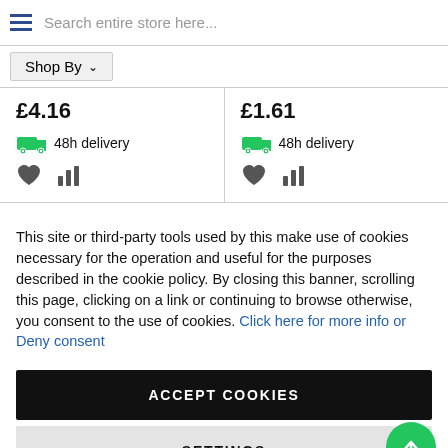Search entire store here...
Shop By
£4.16
48h delivery
£1.61
48h delivery
This site or third-party tools used by this make use of cookies necessary for the operation and useful for the purposes described in the cookie policy. By closing this banner, scrolling this page, clicking on a link or continuing to browse otherwise, you consent to the use of cookies. Click here for more info or Deny consent
ACCEPT COOKIES
SETTINGS